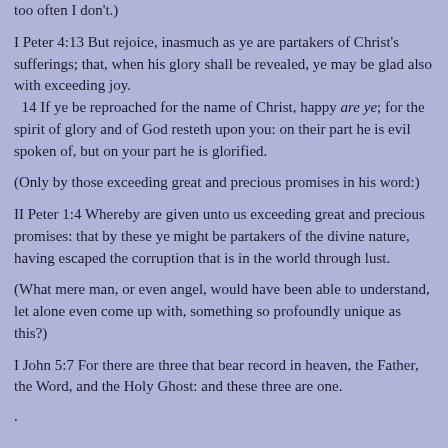too often I don't.)
I Peter 4:13 But rejoice, inasmuch as ye are partakers of Christ's sufferings; that, when his glory shall be revealed, ye may be glad also with exceeding joy.
  14 If ye be reproached for the name of Christ, happy are ye; for the spirit of glory and of God resteth upon you: on their part he is evil spoken of, but on your part he is glorified.
(Only by those exceeding great and precious promises in his word:)
II Peter 1:4 Whereby are given unto us exceeding great and precious promises: that by these ye might be partakers of the divine nature, having escaped the corruption that is in the world through lust.
(What mere man, or even angel, would have been able to understand, let alone even come up with, something so profoundly unique as this?)
I John 5:7 For there are three that bear record in heaven, the Father, the Word, and the Holy Ghost: and these three are one.
.